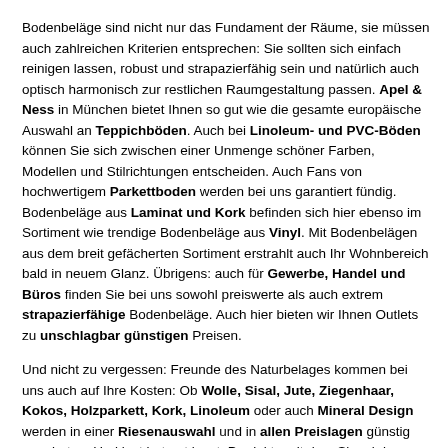Bodenbeläge sind nicht nur das Fundament der Räume, sie müssen auch zahlreichen Kriterien entsprechen: Sie sollten sich einfach reinigen lassen, robust und strapazierfähig sein und natürlich auch optisch harmonisch zur restlichen Raumgestaltung passen. Apel & Ness in München bietet Ihnen so gut wie die gesamte europäische Auswahl an Teppichböden. Auch bei Linoleum- und PVC-Böden können Sie sich zwischen einer Unmenge schöner Farben, Modellen und Stilrichtungen entscheiden. Auch Fans von hochwertigem Parkettboden werden bei uns garantiert fündig. Bodenbeläge aus Laminat und Kork befinden sich hier ebenso im Sortiment wie trendige Bodenbeläge aus Vinyl. Mit Bodenbelägen aus dem breit gefächerten Sortiment erstrahlt auch Ihr Wohnbereich bald in neuem Glanz. Übrigens: auch für Gewerbe, Handel und Büros finden Sie bei uns sowohl preiswerte als auch extrem strapazierfähige Bodenbeläge. Auch hier bieten wir Ihnen Outlets zu unschlagbar günstigen Preisen.
Und nicht zu vergessen: Freunde des Naturbelages kommen bei uns auch auf Ihre Kosten: Ob Wolle, Sisal, Jute, Ziegenhaar, Kokos, Holzparkett, Kork, Linoleum oder auch Mineral Design werden in einer Riesenauswahl und in allen Preislagen günstig angeboten. Und last but not least: Produkte mit dem Siegel des Blauen Engel und Allergiker Geeignet sind in unserem Angebot selbstverständlich und ...